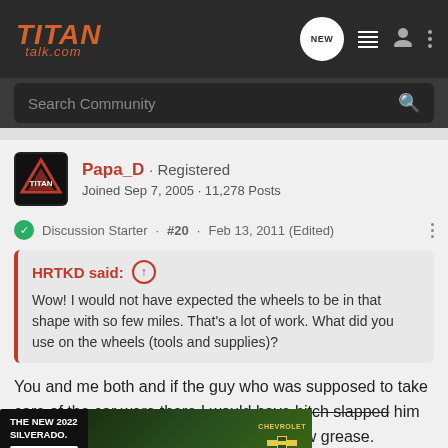TITAN talk.com
Search Community
Papa_D · Registered
Joined Sep 7, 2005 · 11,278 Posts
Discussion Starter · #20 · Feb 13, 2011 (Edited)
HRTKD said: ↑
Wow! I would not have expected the wheels to be in that shape with so few miles. That's a lot of work. What did you use on the wheels (tools and supplies)?
You and me both and if the guy who was supposed to take care of the car were there I would have bitch slapped him out of principal... elbow grease. also
[Figure (screenshot): Chevrolet Silverado 2022 advertisement banner showing 'THE NEW 2022 SILVERADO.' with an Explore button and a truck image with Chevrolet logo]